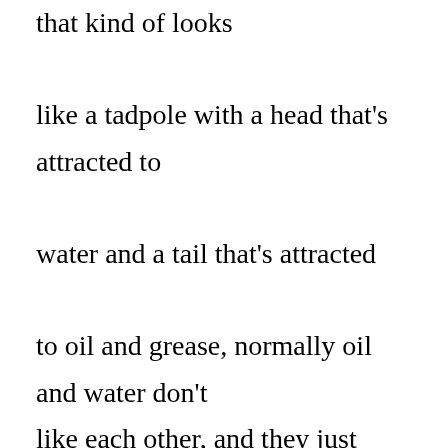that kind of looks like a tadpole with a head that's attracted to water and a tail that's attracted to oil and grease, normally oil and water don't like each other, and they just kind of sit on top of each other, but the surface of our skin actually has both of these substances, but the thing is surfactants are actually happy in both water and oil, so it won't divide and it won't repel each other like oil and water normally would. And it combines together. Basically just imagine